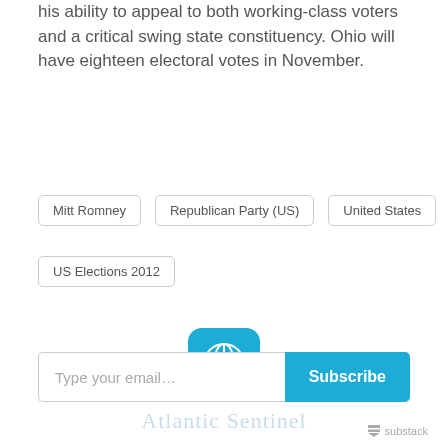his ability to appeal to both working-class voters and a critical swing state constituency. Ohio will have eighteen electoral votes in November.
Mitt Romney
Republican Party (US)
United States
US Elections 2012
[Figure (logo): Atlantic Sentinel globe logo — blue rounded square with white globe icon, and watermark text 'Atlantic Sentinel' below]
Type your email... Subscribe
substack